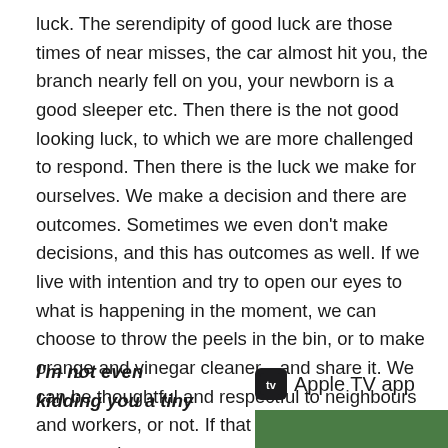luck. The serendipity of good luck are those times of near misses, the car almost hit you, the branch nearly fell on you, your newborn is a good sleeper etc. Then there is the not good looking luck, to which we are more challenged to respond. Then there is the luck we make for ourselves. We make a decision and there are outcomes. Sometimes we even don't make decisions, and this has outcomes as well. If we live with intention and try to open our eyes to what is happening in the moment, we can choose to throw the peels in the bin, or to make orange and vinegar cleaner…and share it. We can be thoughtful and respectful to neighbours and workers, or not. If that is luck too, then count me in.
I'm not even kidding you a tiny
[Figure (logo): Apple TV app logo with icon and text label]